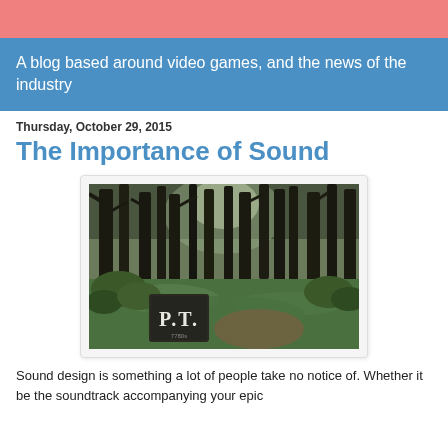A blog based around video games, and the news of the industry
Thursday, October 29, 2015
The Importance of Sound
[Figure (photo): A dark, foggy forest scene with trees and green grass. In the foreground there is a stone or wooden sign reading 'P.T.' with the number '7780s' at the bottom.]
Sound design is something a lot of people take no notice of. Whether it be the soundtrack accompanying your epic